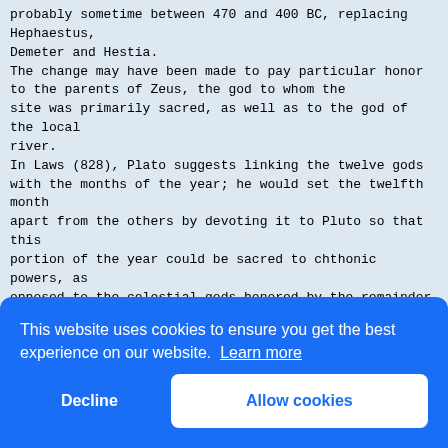probably sometime between 470 and 400 BC, replacing Hephaestus,
Demeter and Hestia.
The change may have been made to pay particular honor to the parents of Zeus, the god to whom the
site was primarily sacred, as well as to the god of the local
river.
In Laws (828), Plato suggests linking the twelve gods with the months of the year; he would set the twelfth month
apart from the others by devoting it to Pluto so that this
portion of the year could be sacred to chthonic powers, as
opposed to the celestial gods honored by the remainder of
Plato's annual round of observances.
Weinreich collects an enormous amount of literary and archaeological data on altars and inscriptions
dedi...
Twel...
wor...
main...
incl...
even...
He f...
Moel...
conc...
that...
In fact, the
earliest cults of the Twelve Gods which can be dated
[Figure (screenshot): Cookie consent overlay dialog with blue background. Text reads 'This website uses cookies to ensure you get the best experience on our website. Learn more'. Two buttons: 'Decline' (left, blue outline on blue) and 'Allow cookies' (right, white background with blue text).]